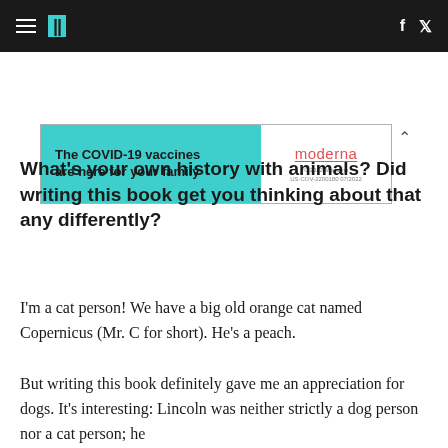HuffPost navigation header with hamburger menu, logo, Facebook and Twitter icons
[Figure (infographic): Advertisement banner: 'The COVID-19 vaccines are here for your family' with Moderna logo, teal background on left, white on right]
What's your own history with animals? Did writing this book get you thinking about that any differently?
I'm a cat person! We have a big old orange cat named Copernicus (Mr. C for short). He's a peach.
But writing this book definitely gave me an appreciation for dogs. It's interesting: Lincoln was neither strictly a dog person nor a cat person; he